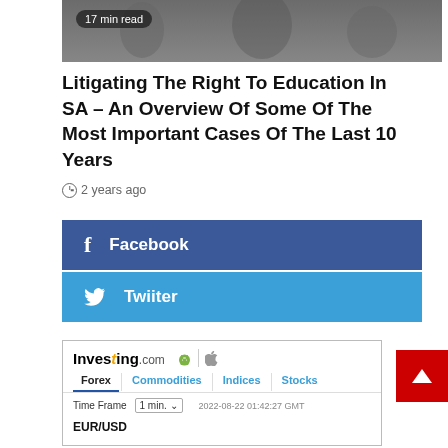[Figure (photo): Grayscale photo of people, partially visible at top, with '17 min read' badge overlay]
Litigating The Right To Education In SA – An Overview Of Some Of The Most Important Cases Of The Last 10 Years
2 years ago
[Figure (infographic): Facebook share button (dark blue) and Twiiter share button (light blue)]
[Figure (screenshot): Investing.com widget showing Forex, Commodities, Indices, Stocks tabs with Time Frame selector (1 min.), date 2022-08-22 01:42:27 GMT, and EUR/USD ticker]